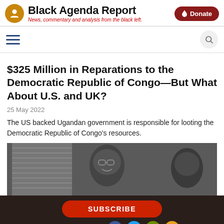Black Agenda Report — News, commentary and analysis from the black left.
$325 Million in Reparations to the Democratic Republic of Congo—But What About U.S. and UK?
25 May 2022
The US backed Ugandan government is responsible for looting the Democratic Republic of Congo's resources.
[Figure (photo): Black and white photograph of two men, one wearing glasses and smiling]
SUBSCRIBE | CONNECT WITH US | ABOUT US | CONTACT US